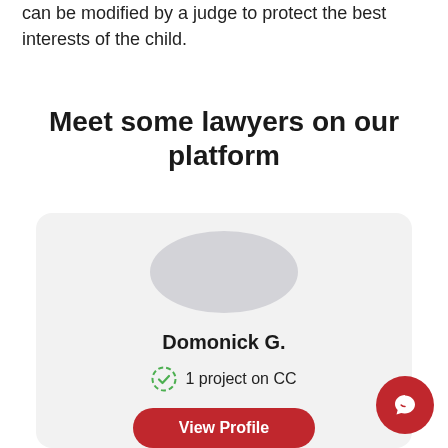can be modified by a judge to protect the best interests of the child.
Meet some lawyers on our platform
[Figure (illustration): Lawyer profile card for Domonick G. with avatar circle, verified project badge showing '1 project on CC', and a red 'View Profile' button]
Domonick G.
1 project on CC